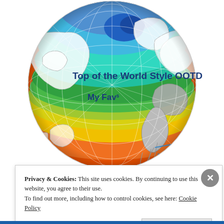[Figure (map): A globe viewed from the top (North Pole perspective) showing a color-coded temperature or climate map. Colors range from blue/teal at the poles to green, yellow, orange, and red toward the equatorial regions. Grid lines (latitude/longitude) are overlaid. Blue line annotations appear in the lower right. Text overlaid: 'Top of the World Style OOTD' and 'My Fav' in dark blue bold.]
Privacy & Cookies: This site uses cookies. By continuing to use this website, you agree to their use.
To find out more, including how to control cookies, see here: Cookie Policy
Close and accept